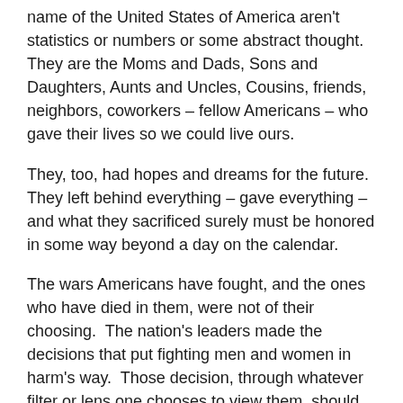name of the United States of America aren't statistics or numbers or some abstract thought.  They are the Moms and Dads, Sons and Daughters, Aunts and Uncles, Cousins, friends, neighbors, coworkers – fellow Americans – who gave their lives so we could live ours.
They, too, had hopes and dreams for the future.  They left behind everything – gave everything – and what they sacrificed surely must be honored in some way beyond a day on the calendar.
The wars Americans have fought, and the ones who have died in them, were not of their choosing.  The nation's leaders made the decisions that put fighting men and women in harm's way.  Those decision, through whatever filter or lens one chooses to view them, should never dictate whether we pay tribute to the sacrifice of those who fought in those wars and died in them.
We need all see the media about the...